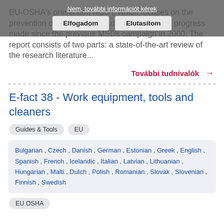EU-OSHA's prevention report, which focuses on the prevention of MSDs and the development and progress made since the previous MSDs campaign in 2000. The report consists of two parts: a state-of-the-art review of the research literature...
További tudnivalók →
E-fact 38 - Work equipment, tools and cleaners
Guides & Tools
EU
Bulgarian , Czech , Danish , German , Estonian , Greek , English , Spanish , French , Icelandic , Italian , Latvian , Lithuanian , Hungarian , Malti , Dutch , Polish , Romanian , Slovak , Slovenian , Finnish , Swedish
EU OSHA